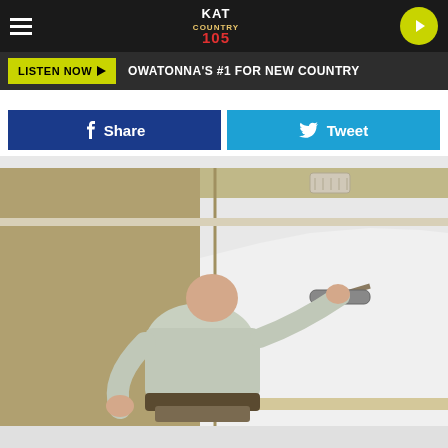[Figure (screenshot): KAT Country 105 radio station website screenshot. Top navigation bar with hamburger menu, KAT Country 105 logo, and play button. Yellow-green 'LISTEN NOW' button with tagline 'OWATONNA'S #1 FOR NEW COUNTRY'. Facebook Share and Twitter Tweet social sharing buttons. Photo of a man painting a room wall white with a paint roller.]
LISTEN NOW
OWATONNA'S #1 FOR NEW COUNTRY
Share
Tweet